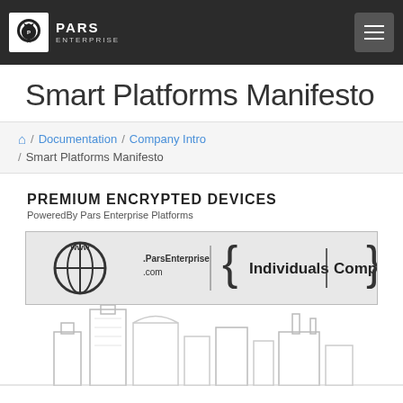PARS ENTERPRISE
Smart Platforms Manifesto
/ Documentation / Company Intro / Smart Platforms Manifesto
PREMIUM ENCRYPTED DEVICES
PoweredBy Pars Enterprise Platforms
[Figure (illustration): Banner showing www.ParsEnterprise.com globe icon on the left and {Individuals | Companies} branding on the right with curly braces]
[Figure (illustration): City skyline line-art illustration at the bottom of the page]